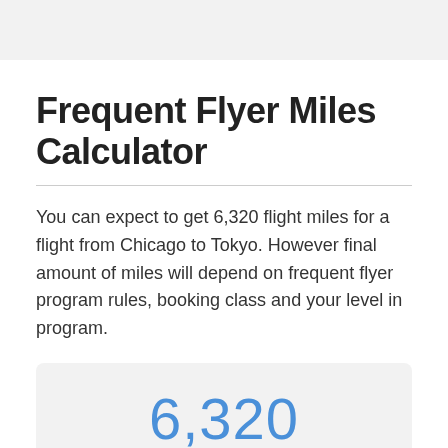Frequent Flyer Miles Calculator
You can expect to get 6,320 flight miles for a flight from Chicago to Tokyo. However final amount of miles will depend on frequent flyer program rules, booking class and your level in program.
6,320
TOTAL MILES